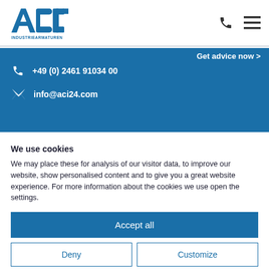[Figure (logo): ACI Industriearmaturen logo — blue stylized letters ACI with tagline INDUSTRIEARMATUREN below]
[Figure (infographic): Phone handset icon and hamburger menu icon in the top-right header area]
Get advice now >
+49 (0) 2461 91034 00
info@aci24.com
We use cookies
We may place these for analysis of our visitor data, to improve our website, show personalised content and to give you a great website experience. For more information about the cookies we use open the settings.
Accept all
Deny
Customize